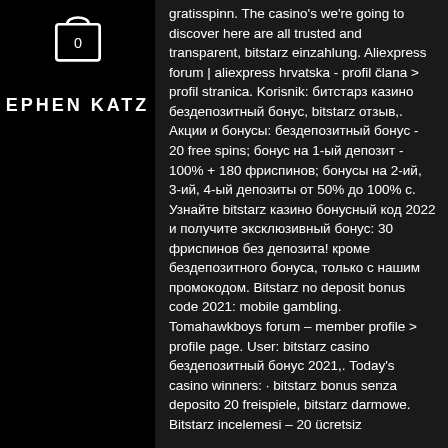[Figure (illustration): Shopping bag icon with number 0 inside, displayed in the top left sidebar area]
EPHEN KATZ
gratisspinn. The casino's we're going to discover here are all trusted and transparent, bitstarz einzahlung. Aliexpress forum | aliexpress hrvatska - profil člana &gt; profil stranica. Korisnik: битстарз казино бездепозитный бонус, bitstarz отзыв,. Акции и бонусы: бездепозитный бонус - 20 free spins; бонус на 1-ый депозит - 100% + 180 фриспинов; бонусы на 2-ий, 3-ий, 4-ый депозиты от 50% до 100% с. Узнайте bitstarz казино бонусный код 2022 и получите эксклюзивный бонус: 30 фриспинов без депозита! кроме бездепозитного бонуса, только с нашим промокодом. Bitstarz no deposit bonus code 2021: mobile gambling. Tomahawkboys forum – member profile &gt; profile page. User: bitstarz casino бездепозитный бонус 2021,. Today's casino winners: · bitstarz bonus senza deposito 20 freispiele, bitstarz darmowe. Bitstarz incelemesi – 20 ücretsiz